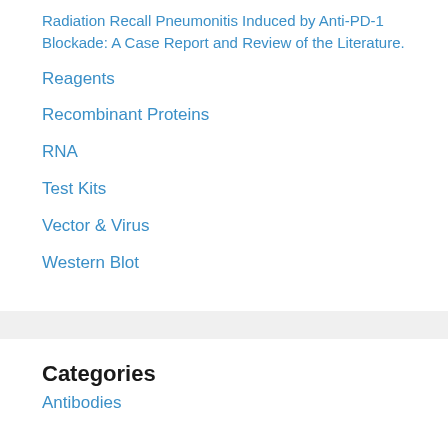Radiation Recall Pneumonitis Induced by Anti-PD-1 Blockade: A Case Report and Review of the Literature.
Reagents
Recombinant Proteins
RNA
Test Kits
Vector & Virus
Western Blot
Categories
Antibodies